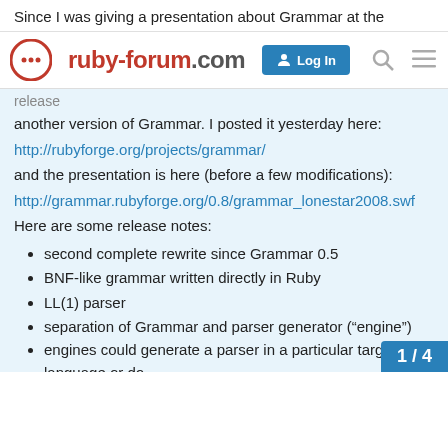Since I was giving a presentation about Grammar at the
[Figure (logo): ruby-forum.com logo with red chat bubble icon, Log In button, search and menu icons]
release
another version of Grammar. I posted it yesterday here:
http://rubyforge.org/projects/grammar/
and the presentation is here (before a few modifications):
http://grammar.rubyforge.org/0.8/grammar_lonestar2008.swf
Here are some release notes:
second complete rewrite since Grammar 0.5
BNF-like grammar written directly in Ruby
LL(1) parser
separation of Grammar and parser generator (“engine”)
engines could generate a parser in a particular target language or do something else with the Grammar tre—
current engines: Ruby (generate sta… Ruby parser)
1 / 4